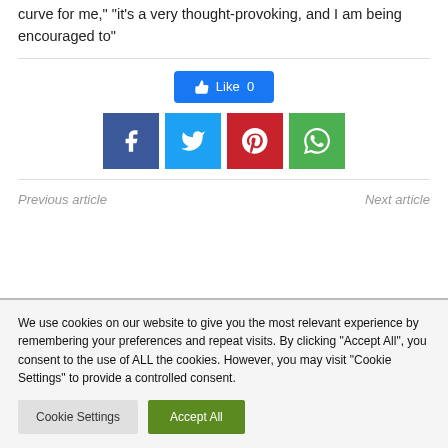curve for me," "it's a very thought-provoking, and I am being encouraged to"
[Figure (other): Facebook Like button showing count of 0]
[Figure (other): Social sharing buttons: Facebook, Twitter, Pinterest, WhatsApp]
Previous article
Next article
We use cookies on our website to give you the most relevant experience by remembering your preferences and repeat visits. By clicking "Accept All", you consent to the use of ALL the cookies. However, you may visit "Cookie Settings" to provide a controlled consent.
Cookie Settings
Accept All